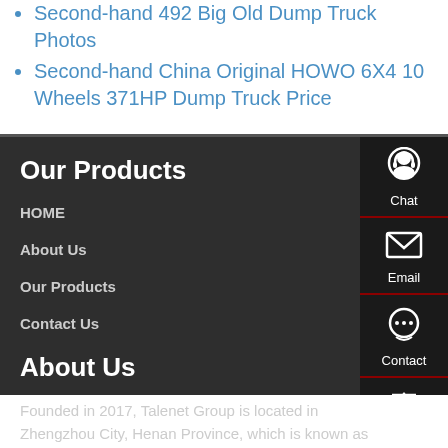Second-hand 492 Big Old Dump Truck Photos
Second-hand China Original HOWO 6X4 10 Wheels 371HP Dump Truck Price
Our Products
HOME
About Us
Our Products
Contact Us
About Us
Founded in 2017, Talenet Group is located in Zhengzhou City, Henan Province, which is known as the "heart of railway" in China. It is a comprehensive group company with
[Figure (infographic): Side panel with Chat (headset icon), Email (envelope icon), Contact (speech bubble icon), and Top (arrow up icon) navigation buttons on dark background]